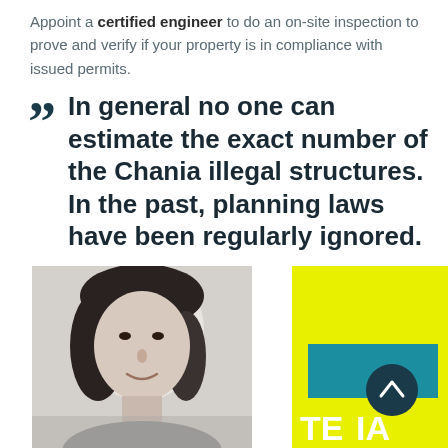Appoint a certified engineer to do an on-site inspection to prove and verify if your property is in compliance with issued permits.
In general no one can estimate the exact number of the Chania illegal structures. In the past, planning laws have been regularly ignored.
[Figure (photo): Black and white photo of a woman with dark hair smiling, alongside a yellow rectangle and a teal rectangle with white text letters 'TE' and 'IA' visible, plus a dark teal circular button with an upward chevron arrow.]